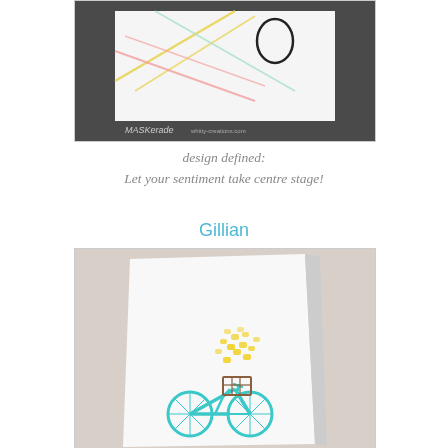[Figure (photo): Photo of a MASKerade card product — a white card with colorful diagonal lines (yellow, pink, mint) on a dark gray background, with a simple circular loop/monogram stamp. Text 'MASKerade' visible at bottom left.]
design defined:
Let your sentiment take centre stage!
Gillian
[Figure (photo): Photo of a handmade greeting card leaning against a light background. The white card features a teal/turquoise bicycle with a basket filled with yellow butterfly or flower stamps spilling out of it.]